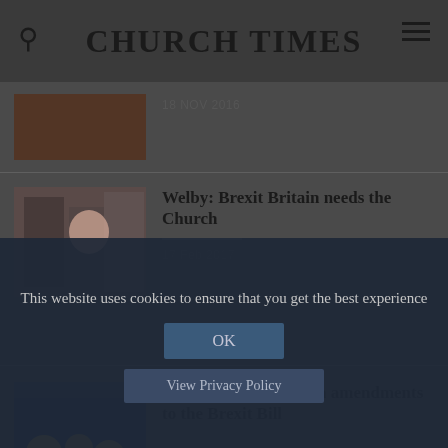CHURCH TIMES
[Figure (photo): Partial article image at top, date 18 Nov 2016]
18 NOV 2016
[Figure (photo): People with police officers, related to Brexit church article]
Welby: Brexit Britain needs the Church
17 Feb 2017
[Figure (photo): EU flag image related to Brexit Bill article]
Bishops are divided on amendments to the Brexit Bill
This website uses cookies to ensure that you get the best experience
OK
View Privacy Policy